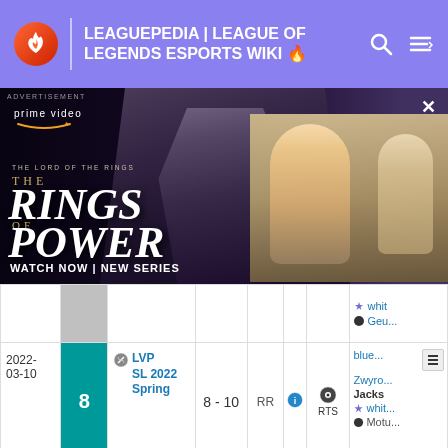LEAGUEPEDIA | LEAGUE OF LEGENDS ESPORTS WIKI
[Figure (photo): Amazon Prime Video advertisement for 'The Lord of the Rings: The Rings of Power' showing a stone creature figure and blonde woman, with text 'WATCH NOW | NEW SERIES']
| Date | Num | Tournament | Score | Type | Info | Broadcaster | Players |
| --- | --- | --- | --- | --- | --- | --- | --- |
|  |  |  |  |  |  |  | whit...
Geu... |
| 2022-03-10 | 8 | LVP SL 2022 Spring | 8 - 10 | RR | i | RTS | blue...
Zwyro...
Jacks
whit...
Motu... |
| 2021-10-27 | 13 - 16 | Iberian Cup 2021 | 0 : 1 | TQ | i | TS | Rub...
Lebro...
Phlaty... |